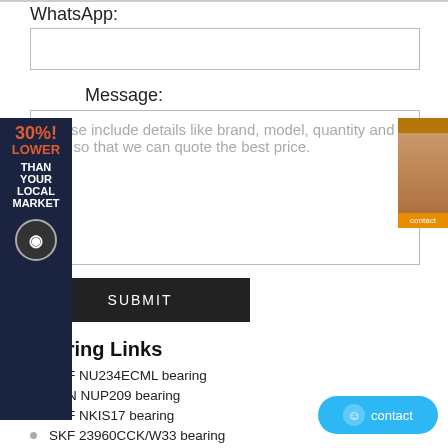WhatsApp:
Message:
Please include details like brand, model, quantity and etc., so that we can quote the best price.
SUBMIT
Bearing Links
SKF NU234ECML bearing
NTN NUP209 bearing
SKF NKIS17 bearing
SKF 23960CCK/W33 bearing
TIMKEN 9386H/9320 bearing
NTN 4T-L432349/L432310 bearing